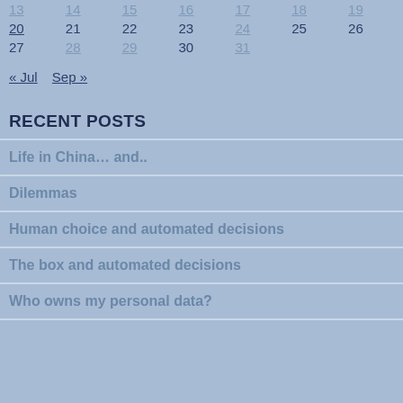| 13 | 14 | 15 | 16 | 17 | 18 | 19 |
| 20 | 21 | 22 | 23 | 24 | 25 | 26 |
| 27 | 28 | 29 | 30 | 31 |  |  |
« Jul   Sep »
RECENT POSTS
Life in China… and..
Dilemmas
Human choice and automated decisions
The box and automated decisions
Who owns my personal data?